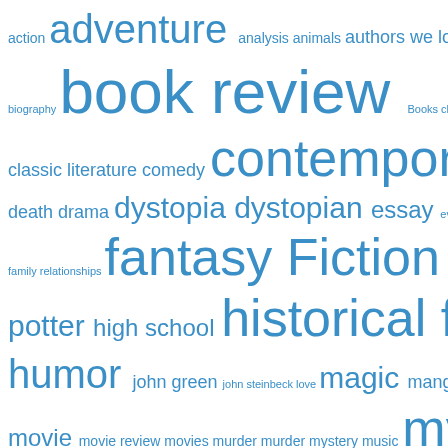[Figure (infographic): Tag/word cloud with book-related genres and topics in varying font sizes, all in blue on white background. Terms include: action, adventure, analysis, animals, authors we love, biography, book review, Books, charles dickens, classic, classic literature, comedy, contemporary, creative writing, death, drama, dystopia, dystopian, essay, event recap, families, family, family relationships, fantasy, Fiction, friendship, harry potter, high school, historical fiction, history, horror, humor, john green, john steinbeck, love, magic, manga, marvel, memoir, movie, movie review, movies, murder, murder mystery, music, mystery, mythology, nonfiction, orphans, paranormal, poetry, psychological fiction, realistic, relationships, religion, review, rick riordan, romance, school life, science fiction, short stories, sports, survival]